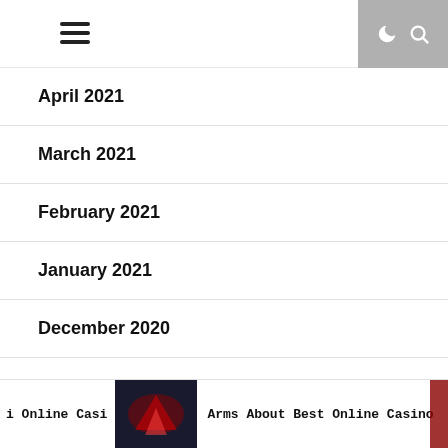Navigation menu header with hamburger icon and dark mode / search icons
April 2021
March 2021
February 2021
January 2021
December 2020
November 2020
October 2020
Online Casi | [image] | Arms About Best Online Casino | [image]